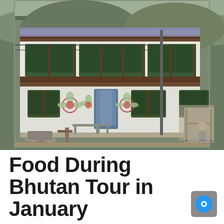[Figure (photo): Traditional Bhutanese building with white walls, dark brown wooden window frames and balconies with green trim, decorative painted motifs on the lower facade, surrounded by a rural setting with mountains in the background and a person visible on the right side.]
Food During Bhutan Tour in January